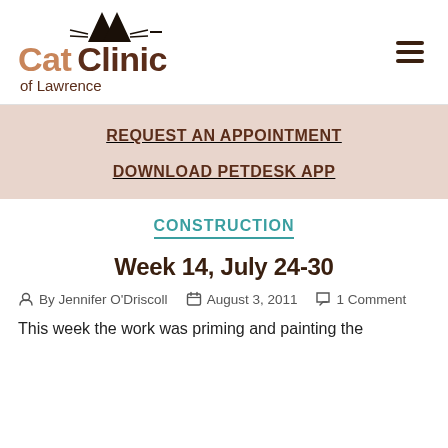[Figure (logo): Cat Clinic of Lawrence logo with cat ears silhouette above the text]
REQUEST AN APPOINTMENT
DOWNLOAD PETDESK APP
CONSTRUCTION
Week 14, July 24-30
By Jennifer O'Driscoll   August 3, 2011   1 Comment
This week the work was priming and painting the